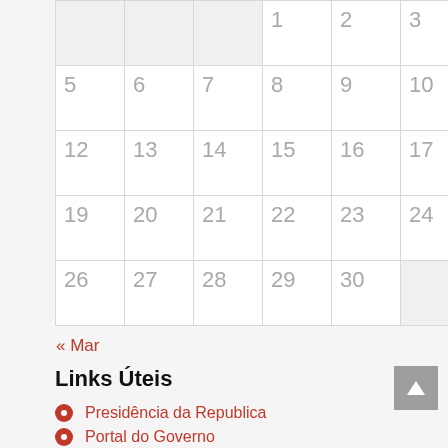|  |  |  | 1 | 2 | 3 | 4 |
| 5 | 6 | 7 | 8 | 9 | 10 | 11 |
| 12 | 13 | 14 | 15 | 16 | 17 | 18 |
| 19 | 20 | 21 | 22 | 23 | 24 | 25 |
| 26 | 27 | 28 | 29 | 30 |  |  |
« Mar
Links Úteis
Presidência da Republica
Portal do Governo
Assembleia da Republica
Portal do Emprego